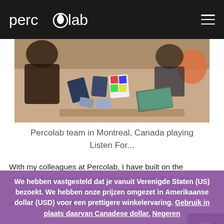percolab
[Figure (photo): People sitting around a wooden table with cards and printed materials spread on the surface, playing a game. Orange chairs visible in background.]
Percolab team in Montreal, Canada playing Listen For...
With my colleagues at Percolab, I have built on the content of Going Horizontal to create Listen For... It's a game to meet individuals in their longing to get to know each other better, to
We hebben vastgesteld dat je vanuit Verenigde Staten (US) bezoekt. We hebben onze prijzen omgezet in Amerikaanse dollar (USD) voor een prettigere winkelervaring. Gebruik in plaats daarvan Canadese dollar. Negeren